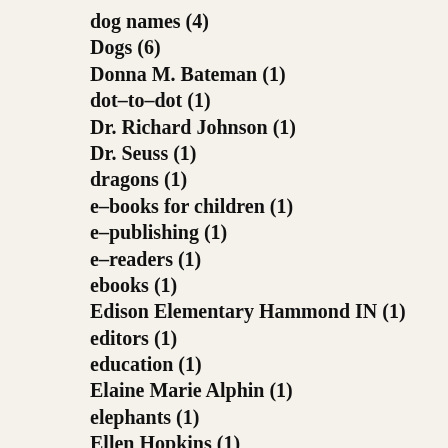dog names (4)
Dogs (6)
Donna M. Bateman (1)
dot-to-dot (1)
Dr. Richard Johnson (1)
Dr. Seuss (1)
dragons (1)
e-books for children (1)
e-publishing (1)
e-readers (1)
ebooks (1)
Edison Elementary Hammond IN (1)
editors (1)
education (1)
Elaine Marie Alphin (1)
elephants (1)
Ellen Hopkins (1)
email (1)
Emma Dryden (2)